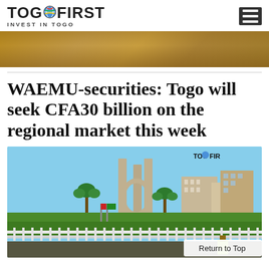TOGOFIRST — INVEST IN TOGO
[Figure (photo): Partial banner/header image showing a warm-toned architectural or interior photo strip at the top]
WAEMU-securities: Togo will seek CFA30 billion on the regional market this week
[Figure (photo): Photo of Togo city square or monument area with tall concrete columns/monument, buildings in background, palm trees, green lawn, white fence in foreground, clear blue sky. TOGOFIR watermark in top right corner. 'Return to Top' button overlay in bottom right.]